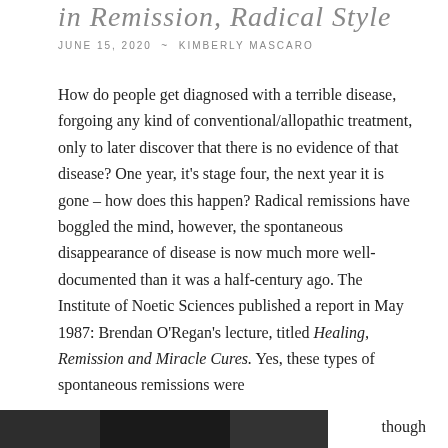in Remission, Radical Style
JUNE 15, 2020  ~  KIMBERLY MASCARO
How do people get diagnosed with a terrible disease, forgoing any kind of conventional/allopathic treatment, only to later discover that there is no evidence of that disease? One year, it's stage four, the next year it is gone – how does this happen? Radical remissions have boggled the mind, however, the spontaneous disappearance of disease is now much more well-documented than it was a half-century ago. The Institute of Noetic Sciences published a report in May 1987: Brendan O'Regan's lecture, titled Healing, Remission and Miracle Cures. Yes, these types of spontaneous remissions were
though
[Figure (photo): Bottom strip photo, partially visible]